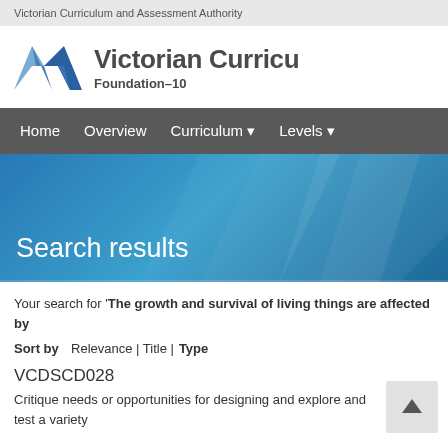Victorian Curriculum and Assessment Authority
[Figure (logo): Victorian Curriculum Foundation–10 logo with blue chevron/arrow graphic]
Search results
Your search for 'The growth and survival of living things are affected by
Sort by  Relevance | Title | Type
VCDSCD028
Critique needs or opportunities for designing and explore and test a variety